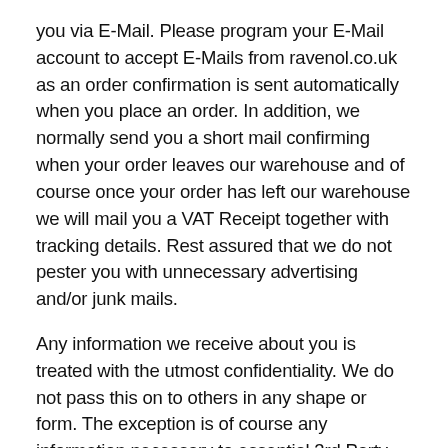you via E-Mail. Please program your E-Mail account to accept E-Mails from ravenol.co.uk as an order confirmation is sent automatically when you place an order. In addition, we normally send you a short mail confirming when your order leaves our warehouse and of course once your order has left our warehouse we will mail you a VAT Receipt together with tracking details. Rest assured that we do not pester you with unnecessary advertising and/or junk mails.
Any information we receive about you is treated with the utmost confidentiality. We do not pass this on to others in any shape or form. The exception is of course any information necessary to essential 3rd Party Service Providers such as the Courier Service delivering your order, Credit Card Companies when using PayPal or your Bank when paying by Debit.
Personal and transactional account information can be viewed and updated by logging in to your account.